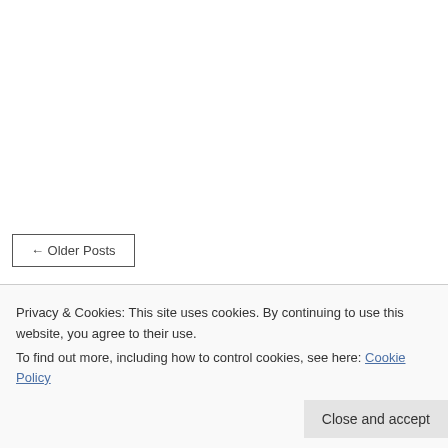← Older Posts
Privacy & Cookies: This site uses cookies. By continuing to use this website, you agree to their use. To find out more, including how to control cookies, see here: Cookie Policy
Close and accept